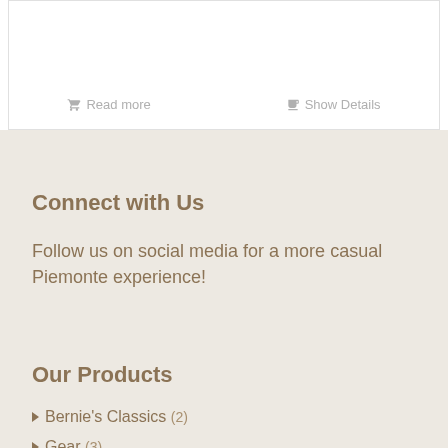Read more   Show Details
Connect with Us
Follow us on social media for a more casual Piemonte experience!
Our Products
Bernie's Classics (2)
Gear (3)